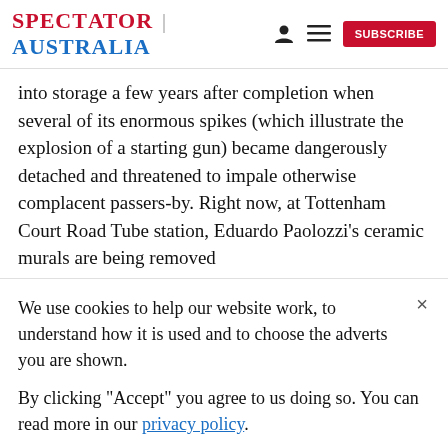SPECTATOR | AUSTRALIA
into storage a few years after completion when several of its enormous spikes (which illustrate the explosion of a starting gun) became dangerously detached and threatened to impale otherwise complacent passers-by. Right now, at Tottenham Court Road Tube station, Eduardo Paolozzi's ceramic murals are being removed
We use cookies to help our website work, to understand how it is used and to choose the adverts you are shown.
By clicking "Accept" you agree to us doing so. You can read more in our privacy policy.
Accept